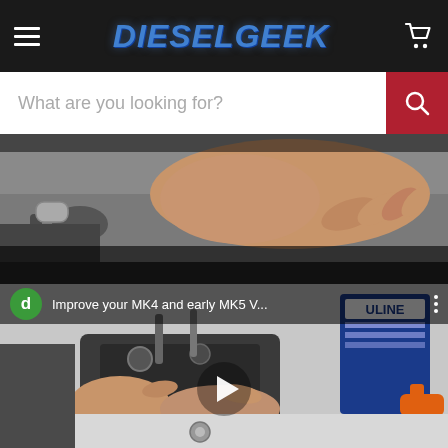DIESELGEEK
What are you looking for?
[Figure (screenshot): Close-up photo of a hand touching or inspecting a mechanical automotive part, likely an engine or undercarriage component.]
[Figure (screenshot): Video thumbnail showing hands working on a VW diesel engine coil or injector component on a workbench with automotive tools. Channel icon with letter 'd' visible. Title: Improve your MK4 and early MK5 V... Play button overlay visible.]
Improve your MK4 and early MK5 V...